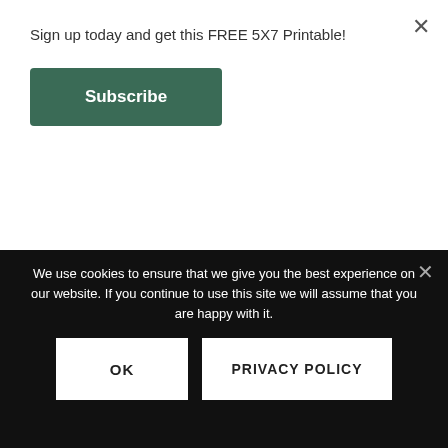Sign up today and get this FREE 5X7 Printable!
Subscribe
[Figure (screenshot): Bookroo advertisement showing 'all year round!' text, a teal 'GET 15% OFF TODAY' button, bookroo.com URL, and two children reading in bed]
We use cookies to ensure that we give you the best experience on our website. If you continue to use this site we will assume that you are happy with it.
OK
PRIVACY POLICY